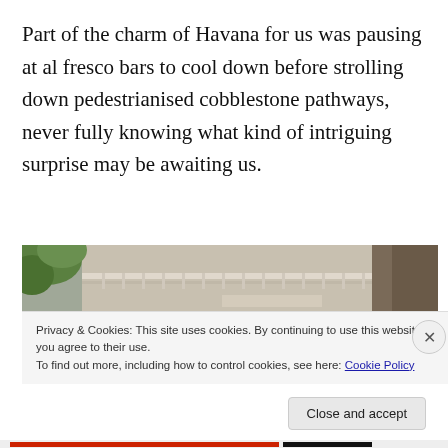Part of the charm of Havana for us was pausing at al fresco bars to cool down before strolling down pedestrianised cobblestone pathways, never fully knowing what kind of intriguing surprise may be awaiting us.
[Figure (photo): Partial view of a Havana building with ornate balcony railing and lush green foliage on the left side]
Privacy & Cookies: This site uses cookies. By continuing to use this website, you agree to their use.
To find out more, including how to control cookies, see here: Cookie Policy
Close and accept